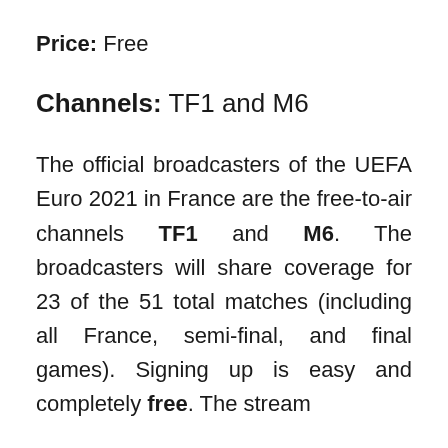Price: Free
Channels: TF1 and M6
The official broadcasters of the UEFA Euro 2021 in France are the free-to-air channels TF1 and M6. The broadcasters will share coverage for 23 of the 51 total matches (including all France, semi-final, and final games). Signing up is easy and completely free. The stream